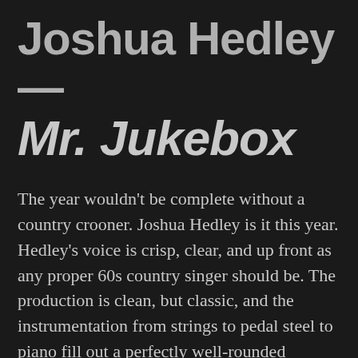Joshua Hedley — Mr. Jukebox
The year wouldn't be complete without a country crooner. Joshua Hedley is it this year. Hedley's voice is crisp, clear, and up front as any proper 60s country singer should be. The production is clean, but classic, and the instrumentation from strings to pedal steel to piano fill out a perfectly well-rounded country record. Shuffles, two-step, and classic honky tonk are tied together with a mid-century feel. If you thirst for classic country, Mr